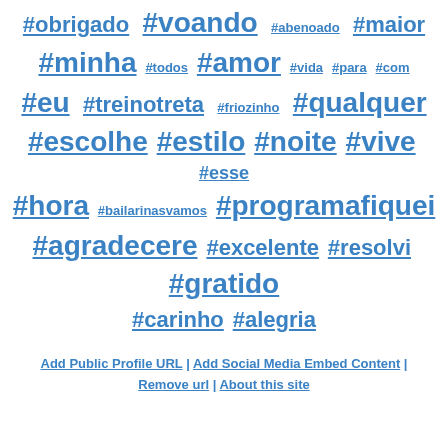#obrigado #voando #abenoado #maior #minha #todos #amor #vida #para #com #eu #treinotreta #friozinho #qualquer #escolhe #estilo #noite #vive #esse #hora #bailarinasvamos #programafiquei #agradecere #excelente #resolvi #gratido #carinho #alegria
Add Public Profile URL | Add Social Media Embed Content | Remove url | About this site